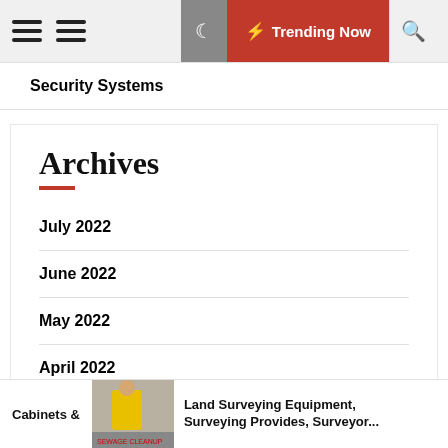Trending Now
Security Systems
Archives
July 2022
June 2022
May 2022
April 2022
Cabinets & | Land Surveying Equipment, Surveying Provides, Surveyor...